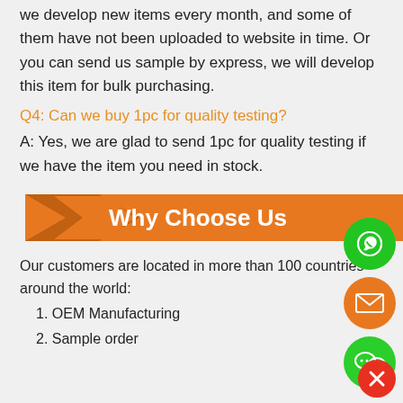we develop new items every month, and some of them have not been uploaded to website in time. Or you can send us sample by express, we will develop this item for bulk purchasing.
Q4: Can we buy 1pc for quality testing?
A: Yes, we are glad to send 1pc for quality testing if we have the item you need in stock.
[Figure (infographic): Orange banner with downward triangle chevron on the left and text 'Why Choose Us' in white bold text]
Our customers are located in more than 100 countries around the world:
1. OEM Manufacturing
2. Sample order